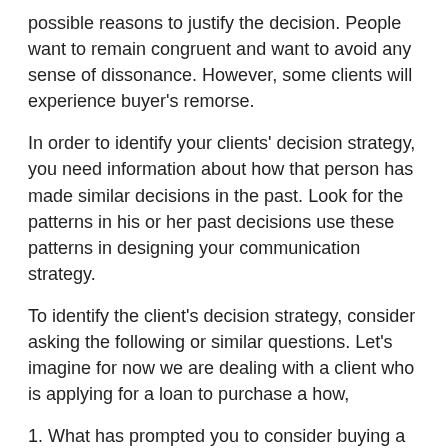possible reasons to justify the decision. People want to remain congruent and want to avoid any sense of dissonance. However, some clients will experience buyer's remorse.
In order to identify your clients' decision strategy, you need information about how that person has made similar decisions in the past. Look for the patterns in his or her past decisions use these patterns in designing your communication strategy.
To identify the client's decision strategy, consider asking the following or similar questions. Let's imagine for now we are dealing with a client who is applying for a loan to purchase a how,
1. What has prompted you to consider buying a new home?
How have you decided what you need?